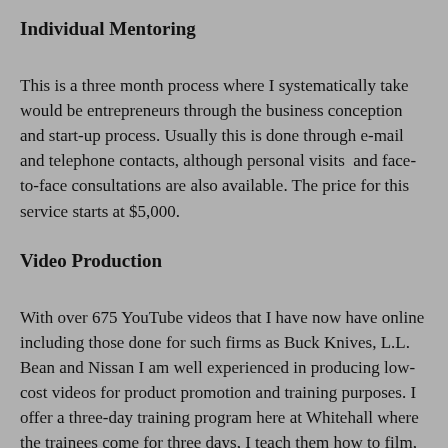Individual Mentoring
This is a three month process where I systematically take would be entrepreneurs through the business conception and start-up process. Usually this is done through e-mail and telephone contacts, although personal visits  and face-to-face consultations are also available. The price for this service starts at $5,000.
Video Production
With over 675 YouTube videos that I have now have online including those done for such firms as Buck Knives, L.L. Bean and Nissan I am well experienced in producing low-cost videos for product promotion and training purposes. I offer a three-day training program here at Whitehall where the trainees come for three days, I teach them how to film, edit and post a video that they have produced. Students must supply their own camera